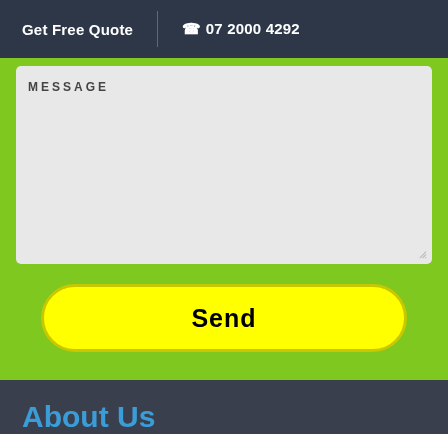Get Free Quote  |  ☎ 07 2000 4292
MESSAGE
Send
About Us